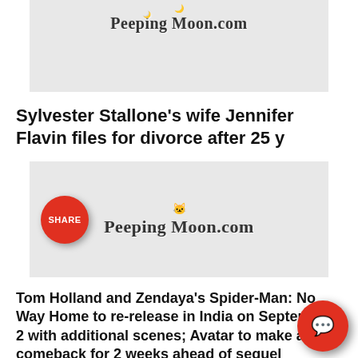[Figure (logo): PeepingMoon.com watermark logo on grey background thumbnail image]
Sylvester Stallone's wife Jennifer Flavin files for divorce after 25 y
[Figure (logo): PeepingMoon.com watermark logo on grey background thumbnail image with SHARE button overlay]
Tom Holland and Zendaya's Spider-Man: No Way Home to re-release in India on September 2 with additional scenes; Avatar to make a comeback for 2 weeks ahead of sequel
[Figure (logo): PeepingMoon.com watermark logo on grey background partial thumbnail image]